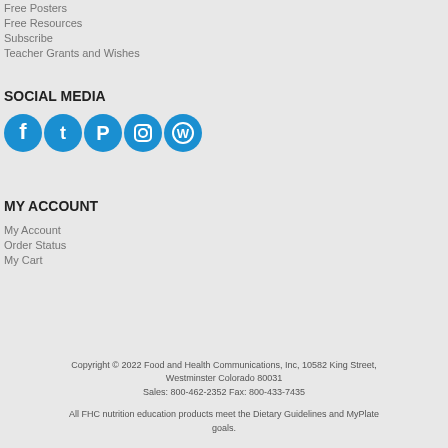Free Posters
Free Resources
Subscribe
Teacher Grants and Wishes
SOCIAL MEDIA
[Figure (illustration): Five social media icons in blue circles: Facebook, Twitter, Pinterest, Instagram, WordPress]
MY ACCOUNT
My Account
Order Status
My Cart
Copyright © 2022 Food and Health Communications, Inc, 10582 King Street, Westminster Colorado 80031
Sales: 800-462-2352 Fax: 800-433-7435

All FHC nutrition education products meet the Dietary Guidelines and MyPlate goals.